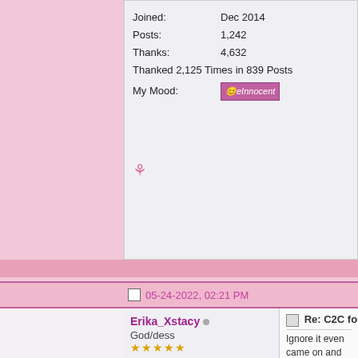Joined: Dec 2014
Posts: 1,242
Thanks: 4,632
Thanked 2,125 Times in 839 Posts
My Mood: eInnocent
05-24-2022, 02:21 PM
Erika_Xstacy
God/dess
Joined: Apr 2015
Posts: 2,291
Thanks: 7,115
Thanked 5,419 Times in 1,780 Posts
Re: C2C for Dummies?
Ignore it even came on and its
If they talk and and you have t
the text will display

it fucks up the rest of the guys
talking to you bc they feel left